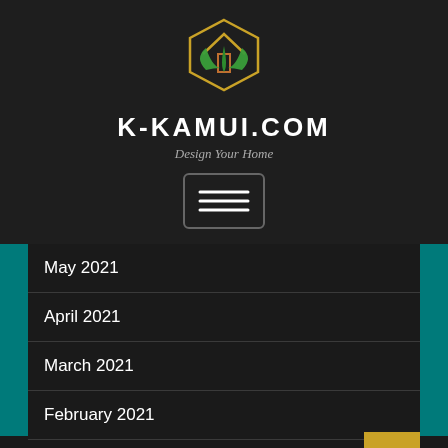[Figure (logo): House logo with green leaves and orange door, hexagonal shape]
K-KAMUI.COM
Design Your Home
[Figure (other): Hamburger menu button with three horizontal lines inside a rounded rectangle border]
May 2021
April 2021
March 2021
February 2021
January 2021
December 2020